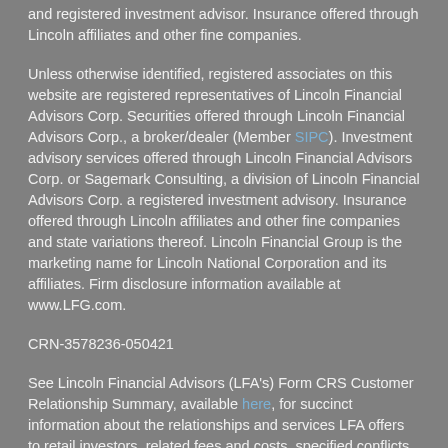and registered investment advisor. Insurance offered through Lincoln affiliates and other fine companies.
Unless otherwise identified, registered associates on this website are registered representatives of Lincoln Financial Advisors Corp. Securities offered through Lincoln Financial Advisors Corp., a broker/dealer (Member SIPC). Investment advisory services offered through Lincoln Financial Advisors Corp. or Sagemark Consulting, a division of Lincoln Financial Advisors Corp. a registered investment advisory. Insurance offered through Lincoln affiliates and other fine companies and state variations thereof. Lincoln Financial Group is the marketing name for Lincoln National Corporation and its affiliates. Firm disclosure information available at www.LFG.com.
CRN-3578236-050421
See Lincoln Financial Advisors (LFA's) Form CRS Customer Relationship Summary, available here, for succinct information about the relationships and services LFA offers to retail investors, related fees and costs, specified conflicts of interest, standards of conduct, and disciplinary history, among other